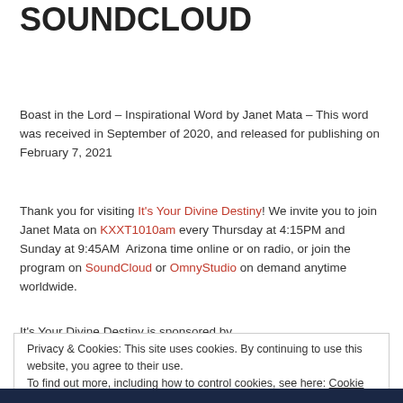SOUNDCLOUD
Boast in the Lord – Inspirational Word by Janet Mata – This word was received in September of 2020, and released for publishing on February 7, 2021
Thank you for visiting It's Your Divine Destiny! We invite you to join Janet Mata on KXXT1010am every Thursday at 4:15PM and Sunday at 9:45AM  Arizona time online or on radio, or join the program on SoundCloud or OmnyStudio on demand anytime worldwide.
It's Your Divine Destiny is sponsored by BeautyforAshesBoutique.com
Privacy & Cookies: This site uses cookies. By continuing to use this website, you agree to their use.
To find out more, including how to control cookies, see here: Cookie Policy